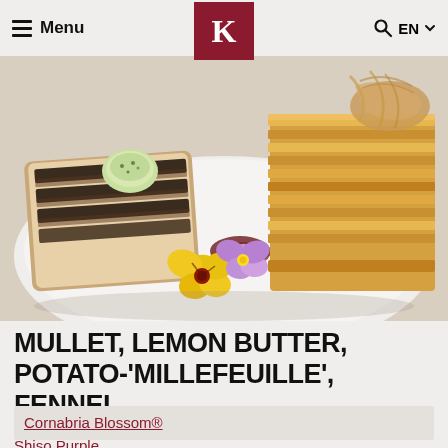Menu | K logo | Q EN
[Figure (photo): Plated dish of mullet with lemon butter, potato millefeuille, and fennel, garnished with yellow and purple pansy flowers on a white plate]
MULLET, LEMON BUTTER, POTATO-'MILLEFEUILLE', FENNEL
Cornabria Blossom®
Shiso Purple